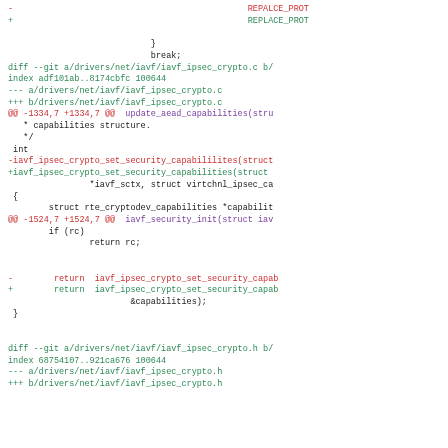[Figure (screenshot): A git diff output showing changes to iavf_ipsec_crypto.c and iavf_ipsec_crypto.h files, with removed lines in red, added lines in green, context lines in teal, and diff headers in blue and purple.]